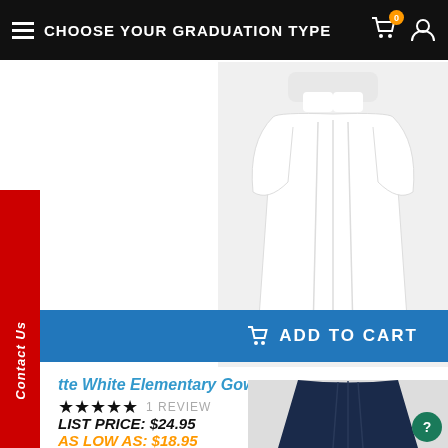CHOOSE YOUR GRADUATION TYPE
[Figure (photo): White elementary graduation gown product photo on light gray background]
Contact Us
...tte White Elementary Gown
★★★★★ 1 REVIEW
LIST PRICE: $24.95
AS LOW AS: $18.95
ADD TO CART
[Figure (photo): Navy blue graduation gown product photo, partially visible at bottom of page]